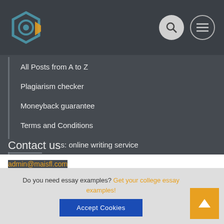[Figure (logo): Circular logo with dark hexagonal ring and yellow accent on the left; search icon circle and hamburger menu circle on the right in header]
All Posts from A to Z
Plagiarism checker
Moneyback guarantee
Terms and Conditions
How it Works: online writing service
Contact us
admin@maisfl.com
4440 Levy Court, Cambridge, MA 02142
Do you need essay examples? Get your college essay examples! Accept Cookies